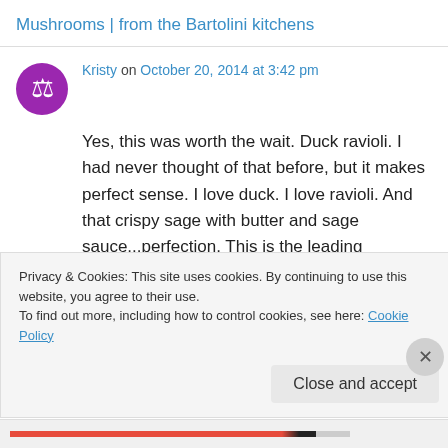Mushrooms | from the Bartolini kitchens
[Figure (illustration): Purple avatar icon with a balance scale symbol, representing user Kristy]
Kristy on October 20, 2014 at 3:42 pm
Yes, this was worth the wait. Duck ravioli. I had never thought of that before, but it makes perfect sense. I love duck. I love ravioli. And that crispy sage with butter and sage sauce...perfection. This is the leading contender for our annual Christmas Eve dinner. It will take a lot to knock this one out of place too I believe. I'm so glad
Privacy & Cookies: This site uses cookies. By continuing to use this website, you agree to their use.
To find out more, including how to control cookies, see here: Cookie Policy
Close and accept